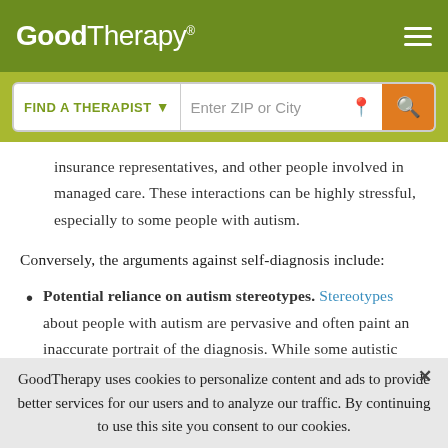GoodTherapy®
insurance representatives, and other people involved in managed care. These interactions can be highly stressful, especially to some people with autism.
Conversely, the arguments against self-diagnosis include:
Potential reliance on autism stereotypes. Stereotypes about people with autism are pervasive and often paint an inaccurate portrait of the diagnosis. While some autistic people struggle with social interactions and cues, others do not. Autism is a continuum of
GoodTherapy uses cookies to personalize content and ads to provide better services for our users and to analyze our traffic. By continuing to use this site you consent to our cookies.